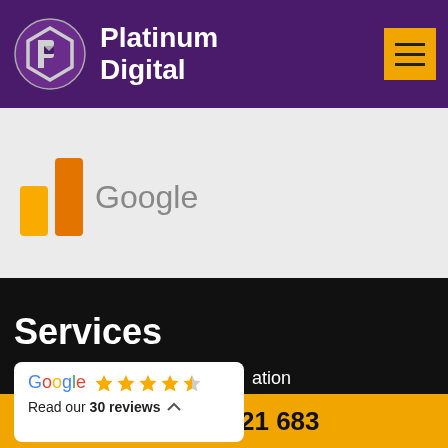[Figure (logo): Platinum Digital logo with hexagonal P icon and company name in white on purple background, with orange hamburger menu button]
[Figure (logo): Google Analytics logo on light grey background]
Services
[Figure (other): Google review widget showing 4.5 star rating and 'Read our 30 reviews' text]
ation
on
1300 621 683